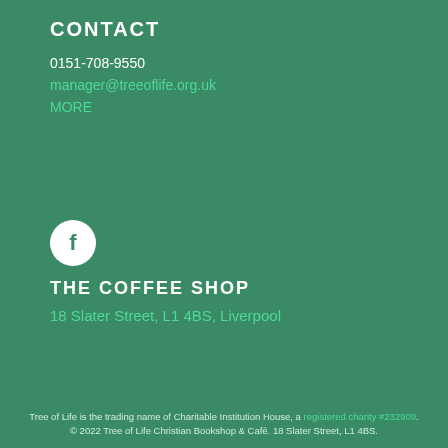CONTACT
0151-708-9550
manager@treeoflife.org.uk
MORE
[Figure (logo): Facebook icon — white circle with Facebook 'f' logo in dark green]
THE COFFEE SHOP
18 Slater Street, L1 4BS, Liverpool
Tree of Life is the trading name of Charitable Institution House, a registered charity #232909. © 2022 Tree of Life Christian Bookshop & Café. 18 Slater Street, L1 4BS.